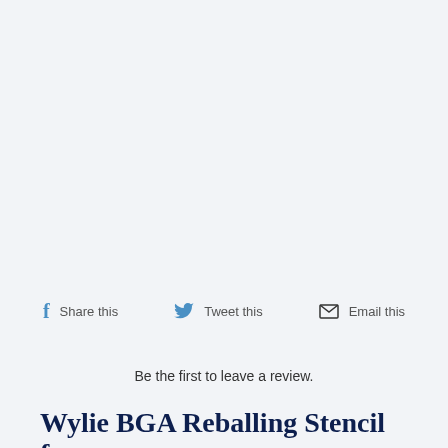Share this   Tweet this   Email this
Be the first to leave a review.
Wylie BGA Reballing Stencil for